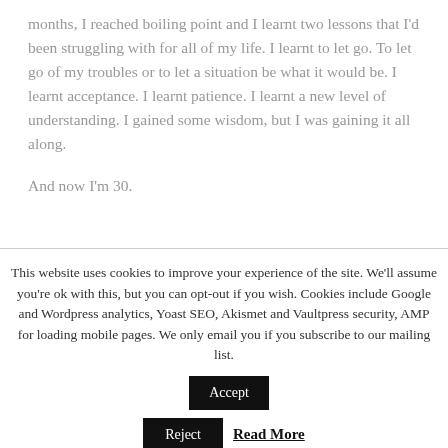months, I reached boiling point and I learnt two lessons that I'd been struggling with for all of my life. I learnt to let go. To let go of my troubles or to let a situation be what it would be. I learnt acceptance. I learnt patience. I learnt a new level of understanding. I gained some wisdom, but I was gaining it all along.
And now I'm 30.
This website uses cookies to improve your experience of the site. We'll assume you're ok with this, but you can opt-out if you wish. Cookies include Google and Wordpress analytics, Yoast SEO, Akismet and Vaultpress security, AMP for loading mobile pages. We only email you if you subscribe to our mailing list.